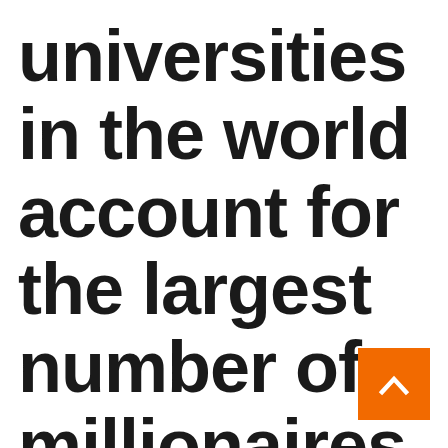universities in the world account for the largest number of millionaires – corporations – the economy
[Figure (other): Orange square button with white upward chevron arrow, positioned at bottom right]